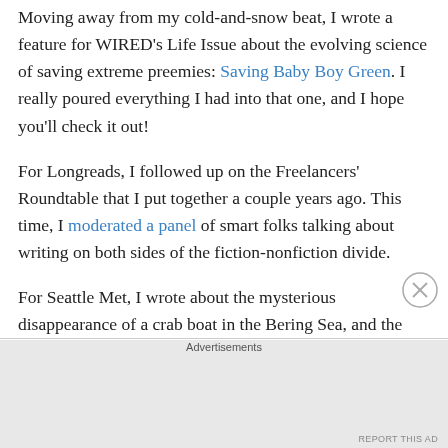Moving away from my cold-and-snow beat, I wrote a feature for WIRED's Life Issue about the evolving science of saving extreme preemies: Saving Baby Boy Green. I really poured everything I had into that one, and I hope you'll check it out!
For Longreads, I followed up on the Freelancers' Roundtable that I put together a couple years ago. This time, I moderated a panel of smart folks talking about writing on both sides of the fiction-nonfiction divide.
For Seattle Met, I wrote about the mysterious disappearance of a crab boat in the Bering Sea, and the Coast Guard investigation that followed: The Boat at the Bottom of the Sea
Advertisements